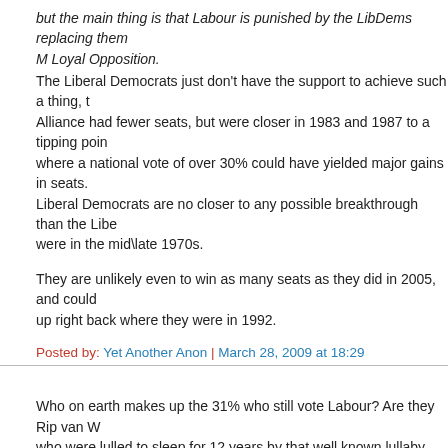but the main thing is that Labour is punished by the LibDems replacing them as HM Loyal Opposition. The Liberal Democrats just don't have the support to achieve such a thing, the Alliance had fewer seats, but were closer in 1983 and 1987 to a tipping point where a national vote of over 30% could have yielded major gains in seats. Liberal Democrats are no closer to any possible breakthrough than the Liberals were in the mid/late 1970s.
They are unlikely even to win as many seats as they did in 2005, and could end up right back where they were in 1992.
Posted by: Yet Another Anon | March 28, 2009 at 18:29
Who on earth makes up the 31% who still vote Labour? Are they Rip van Winkles who were lulled to sleep for 12 years by that well known lullaby "Things Can Only Get Better"? It's worrying that apparently a large section of the voting population seems unable to connect the moral and financial bankruptcy of this country to the party that has been in power for over a decade.
Posted by: anne allan | March 28, 2009 at 18:52